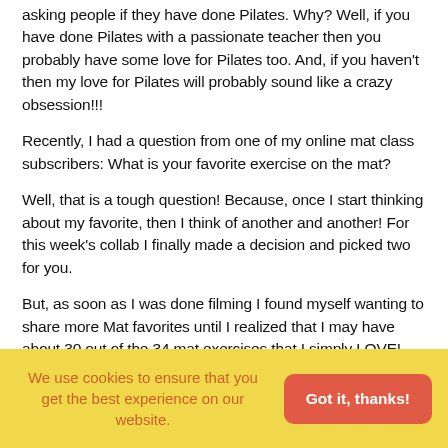asking people if they have done Pilates. Why? Well, if you have done Pilates with a passionate teacher then you probably have some love for Pilates too. And, if you haven't then my love for Pilates will probably sound like a crazy obsession!!!
Recently, I had a question from one of my online mat class subscribers: What is your favorite exercise on the mat?
Well, that is a tough question! Because, once I start thinking about my favorite, then I think of another and another! For this week's collab I finally made a decision and picked two for you.
But, as soon as I was done filming I found myself wanting to share more Mat favorites until I realized that I may have about 30 out of the 34 mat exercises that I simply LOVE!
You can check out my favorite Pilates mat exercises here and my collaboration partner-in-Pilates-crime Andrea tt...
We use cookies to ensure that you get the best experience on our website.
Got it, thanks!